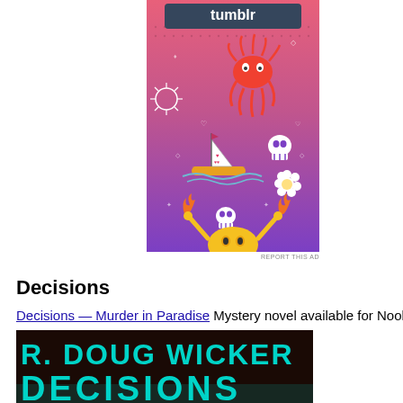[Figure (illustration): Tumblr advertisement banner with colorful illustrated doodles on a pink-to-purple gradient background, featuring a squid, sailboat, skull, flowers, fire, and a yellow creature with raised arms. The Tumblr logo appears at the top.]
REPORT THIS AD
Decisions
Decisions — Murder in Paradise Mystery novel available for Nook 0
[Figure (photo): Book cover showing 'R. DOUG WICKER' in large teal letters on a dark background, with the word 'DECISIONS' below in large teal letters, partially cut off.]